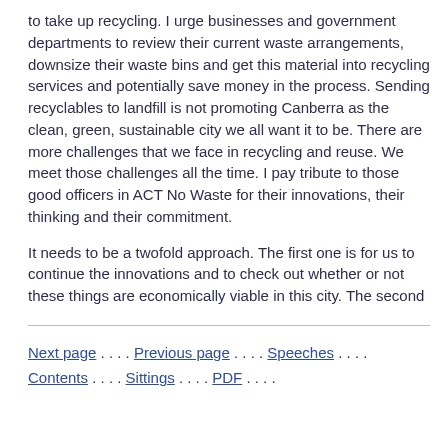to take up recycling. I urge businesses and government departments to review their current waste arrangements, downsize their waste bins and get this material into recycling services and potentially save money in the process. Sending recyclables to landfill is not promoting Canberra as the clean, green, sustainable city we all want it to be. There are more challenges that we face in recycling and reuse. We meet those challenges all the time. I pay tribute to those good officers in ACT No Waste for their innovations, their thinking and their commitment.
It needs to be a twofold approach. The first one is for us to continue the innovations and to check out whether or not these things are economically viable in this city. The second
Next page . . . . Previous page . . . . Speeches . . . . Contents . . . . Sittings . . . . PDF . . . .